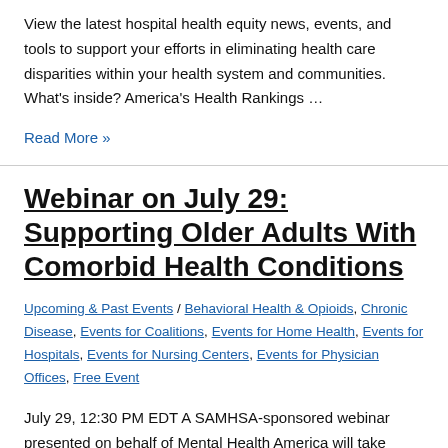View the latest hospital health equity news, events, and tools to support your efforts in eliminating health care disparities within your health system and communities. What's inside? America's Health Rankings …
Read More »
Webinar on July 29: Supporting Older Adults With Comorbid Health Conditions
Upcoming & Past Events / Behavioral Health & Opioids, Chronic Disease, Events for Coalitions, Events for Home Health, Events for Hospitals, Events for Nursing Centers, Events for Physician Offices, Free Event
July 29, 12:30 PM EDT A SAMHSA-sponsored webinar presented on behalf of Mental Health America will take place